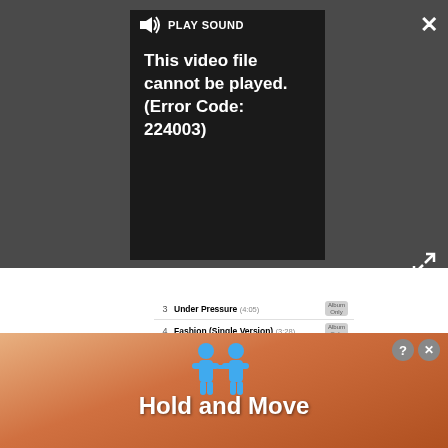[Figure (screenshot): Video player overlay showing error message 'This video file cannot be played. (Error Code: 224003)' with PLAY SOUND label and speaker icon on dark background]
[Figure (screenshot): Mobile app screenshot showing music track list with tracks: Under Pressure (4:05), Fashion (Single Version) (3:28), Modern Love (Single...) (3:58), China Girl (Single Vers...) (4:17) with Album Only buttons and navigation bar (Featured, Top Tens, Search, Downloads)]
[Figure (screenshot): Mobile app status bar showing AT&T signal, 9:13 AM, with navigation buttons: Let's Dance, Artist, New Search]
[Figure (screenshot): Advertisement banner with blue cartoon figures and text 'Hold and Move' on orange/brown background with close buttons]